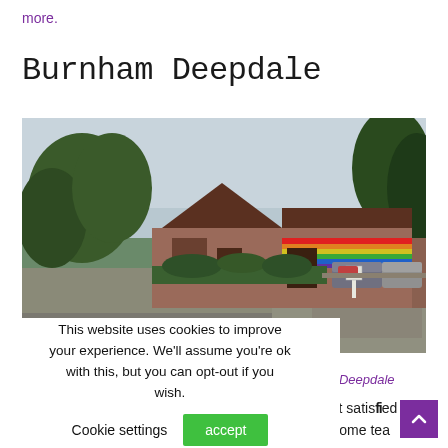more.
Burnham Deepdale
[Figure (photo): Photograph of Burnham Deepdale village building — a low brick structure with a pitched roof, rainbow-striped sign, trees and cars in background, overcast sky.]
This website uses cookies to improve your experience. We'll assume you're ok with this, but you can opt-out if you wish.    Cookie settings    accept
ham Deepdale
I felt satisfied
or some tea